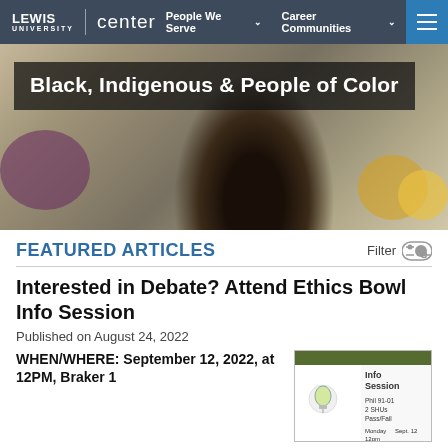Lewis University | center — People We Serve ∨   Career Communities ∨
[Figure (photo): Hero image of a Black woman with curly hair looking down at a laptop in a modern office/lounge setting with colorful chairs in the background. Overlaid text reads 'Black, Indigenous & People of Color']
FEATURED ARTICLES
Interested in Debate? Attend Ethics Bowl Info Session
Published on August 24, 2022
WHEN/WHERE: September 12, 2022, at 12PM, Braker 1
[Figure (infographic): Info Session flyer thumbnail showing 'Info Session' heading, a lightbulb icon, course details Phil 91-01 2 SHUs Pass/Fail, Monday Sept. 12, 12pm]